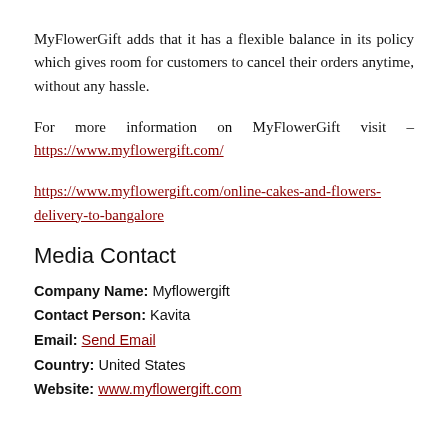MyFlowerGift adds that it has a flexible balance in its policy which gives room for customers to cancel their orders anytime, without any hassle.
For more information on MyFlowerGift visit – https://www.myflowergift.com/
https://www.myflowergift.com/online-cakes-and-flowers-delivery-to-bangalore
Media Contact
Company Name: Myflowergift
Contact Person: Kavita
Email: Send Email
Country: United States
Website: www.myflowergift.com